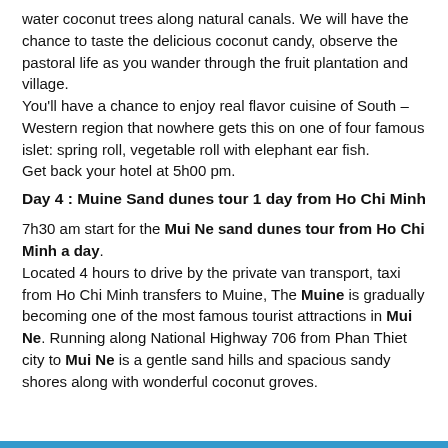water coconut trees along natural canals. We will have the chance to taste the delicious coconut candy, observe the pastoral life as you wander through the fruit plantation and village.
You'll have a chance to enjoy real flavor cuisine of South – Western region that nowhere gets this on one of four famous islet: spring roll, vegetable roll with elephant ear fish.
Get back your hotel at 5h00 pm.
Day 4 : Muine Sand dunes tour 1 day from Ho Chi Minh
7h30 am start for the Mui Ne sand dunes tour from Ho Chi Minh a day. Located 4 hours to drive by the private van transport, taxi from Ho Chi Minh transfers to Muine, The Muine is gradually becoming one of the most famous tourist attractions in Mui Ne. Running along National Highway 706 from Phan Thiet city to Mui Ne is a gentle sand hills and spacious sandy shores along with wonderful coconut groves.